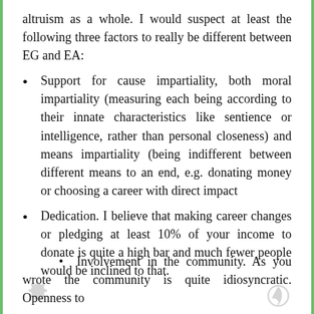altruism as a whole. I would suspect at least the following three factors to really be different between EG and EA:
Support for cause impartiality, both moral impartiality (measuring each being according to their innate characteristics like sentience or intelligence, rather than personal closeness) and means impartiality (being indifferent between different means to an end, e.g. donating money or choosing a career with direct impact
Dedication. I believe that making career changes or pledging at least 10% of your income to donate is quite a high bar and much fewer people would be inclined to that.
Involvement in the community. As you wrote the community is quite idiosyncratic. Openness to